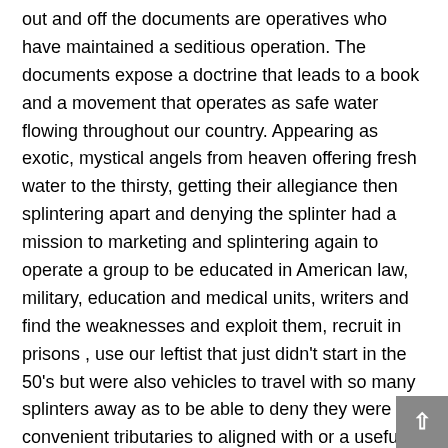out and off the documents are operatives who have maintained a seditious operation. The documents expose a doctrine that leads to a book and a movement that operates as safe water flowing throughout our country. Appearing as exotic, mystical angels from heaven offering fresh water to the thirsty, getting their allegiance then splintering apart and denying the splinter had a mission to marketing and splintering again to operate a group to be educated in American law, military, education and medical units, writers and find the weaknesses and exploit them, recruit in prisons , use our leftist that just didn't start in the 50's but were also vehicles to travel with so many splinters away as to be able to deny they were convenient tributaries to aligned with or a useful splinter to develop or aid of the original wood. What I found was interesting is that hidden under the floor boards of a old house, newspapers from 1919,